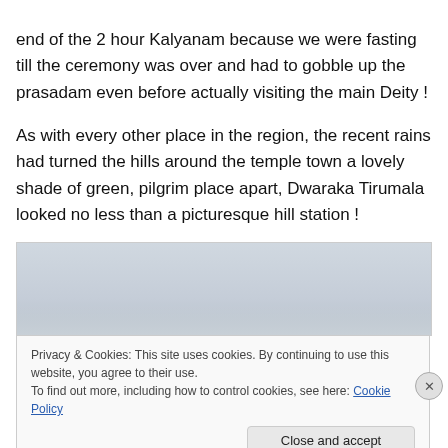end of the 2 hour Kalyanam because we were fasting till the ceremony was over and had to gobble up the prasadam even before actually visiting the main Deity !
As with every other place in the region, the recent rains had turned the hills around the temple town a lovely shade of green, pilgrim place apart, Dwaraka Tirumala looked no less than a picturesque hill station !
[Figure (photo): A misty/hazy landscape photo, overcast sky, very light grey tones suggesting hills or terrain in fog.]
Privacy & Cookies: This site uses cookies. By continuing to use this website, you agree to their use.
To find out more, including how to control cookies, see here: Cookie Policy
Close and accept